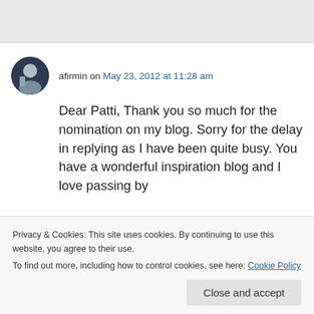[Figure (other): Gray header bar area at top of page]
afirmin on May 23, 2012 at 11:28 am
Dear Patti, Thank you so much for the nomination on my blog. Sorry for the delay in replying as I have been quite busy. You have a wonderful inspiration blog and I love passing by
Privacy & Cookies: This site uses cookies. By continuing to use this website, you agree to their use.
To find out more, including how to control cookies, see here: Cookie Policy
Close and accept